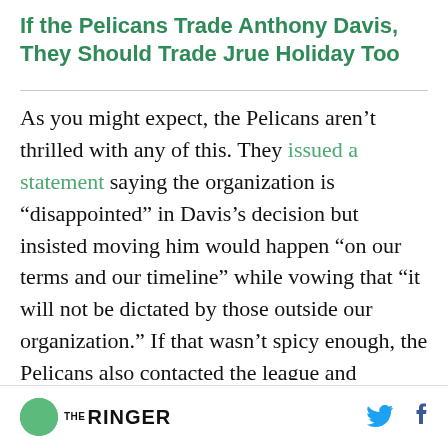If the Pelicans Trade Anthony Davis, They Should Trade Jrue Holiday Too
As you might expect, the Pelicans aren't thrilled with any of this. They issued a statement saying the organization is “disappointed” in Davis’s decision but insisted moving him would happen “on our terms and our timeline” while vowing that “it will not be dictated by those outside our organization.” If that wasn’t spicy enough, the Pelicans also contacted the league and requested that the tampering rules be strictly enforced, which led to Davis getting a $50,000 fine. He can
THE RINGER